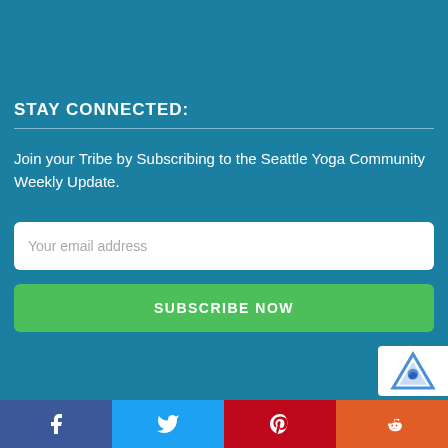STAY CONNECTED:
Join your Tribe by Subscribing to the Seattle Yoga Community Weekly Update.
[Figure (screenshot): Email input field with placeholder text 'Your email address']
[Figure (screenshot): Green 'SUBSCRIBE NOW' button]
[Figure (screenshot): Social share bar with Facebook, Twitter, Pinterest, and Reddit buttons]